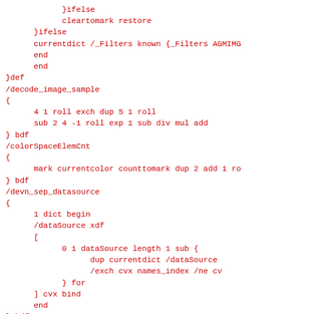}ifelse
            cleartomark restore
      }ifelse
      currentdict /_Filters known {_Filters AGMIMG
      end
      end
}def
/decode_image_sample
{
      4 1 roll exch dup 5 1 roll
      sub 2 4 -1 roll exp 1 sub div mul add
} bdf
/colorSpaceElemCnt
{
      mark currentcolor counttomark dup 2 add 1 ro
} bdf
/devn_sep_datasource
{
      1 dict begin
      /dataSource xdf
      [
            0 1 dataSource length 1 sub {
                  dup currentdict /dataSource
                  /exch cvx names_index /ne cv
            } for
      ] cvx bind
      end
} bdf
/devn_alt_datasource
{